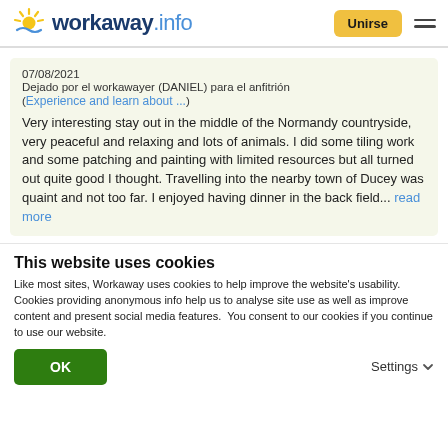workaway.info | Unirse
07/08/2021
Dejado por el workawayer (DANIEL) para el anfitrión
(Experience and learn about ...)

Very interesting stay out in the middle of the Normandy countryside, very peaceful and relaxing and lots of animals. I did some tiling work and some patching and painting with limited resources but all turned out quite good I thought. Travelling into the nearby town of Ducey was quaint and not too far. I enjoyed having dinner in the back field... read more
This website uses cookies
Like most sites, Workaway uses cookies to help improve the website's usability. Cookies providing anonymous info help us to analyse site use as well as improve content and present social media features.  You consent to our cookies if you continue to use our website.
OK | Settings